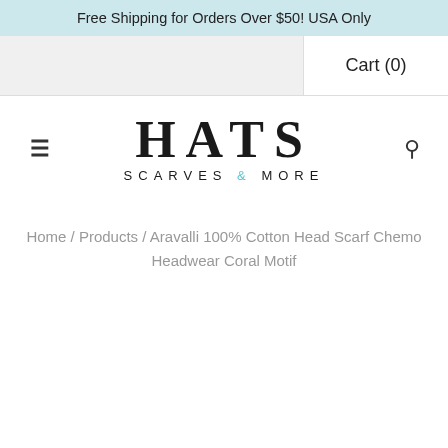Free Shipping for Orders Over $50! USA Only
Cart (0)
[Figure (logo): HATS SCARVES & MORE store logo with hamburger menu and search icon]
Home / Products / Aravalli 100% Cotton Head Scarf Chemo Headwear Coral Motif